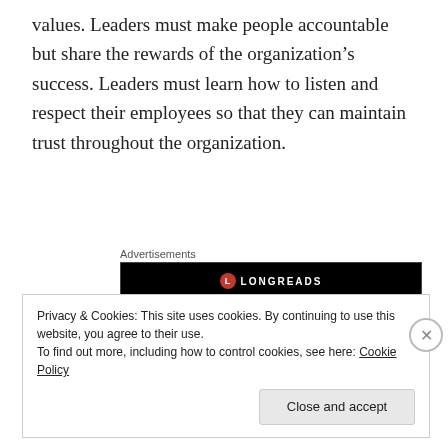values. Leaders must make people accountable but share the rewards of the organization's success. Leaders must learn how to listen and respect their employees so that they can maintain trust throughout the organization.
[Figure (other): Longreads advertisement banner with black background, red circular logo with 'L', and text 'LONGREADS' in white letters]
In summary, the coronavirus is not leaving our planet any time soon. Societies across the globe will need to
Privacy & Cookies: This site uses cookies. By continuing to use this website, you agree to their use.
To find out more, including how to control cookies, see here: Cookie Policy
Close and accept